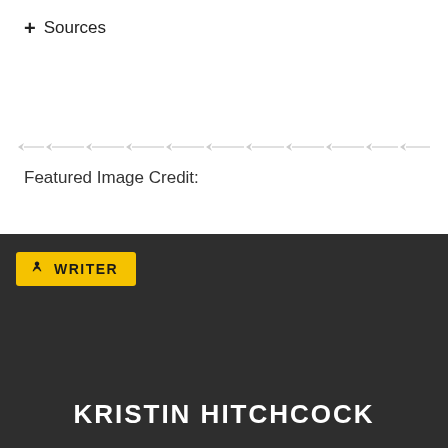+ Sources
[Figure (other): Decorative dashed divider line with arrow-like motifs]
Featured Image Credit:
[Figure (photo): Dark background author card with WRITER badge in yellow and circular portrait photo of Kristin Hitchcock]
KRISTIN HITCHCOCK